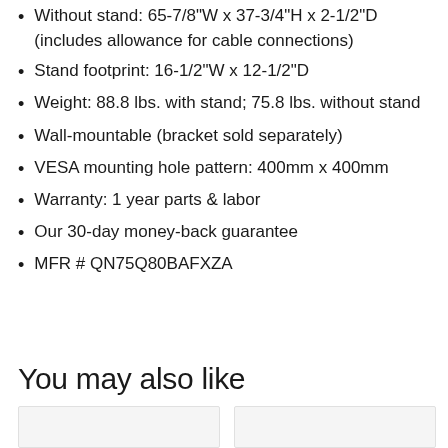Without stand: 65-7/8"W x 37-3/4"H x 2-1/2"D (includes allowance for cable connections)
Stand footprint: 16-1/2"W x 12-1/2"D
Weight: 88.8 lbs. with stand; 75.8 lbs. without stand
Wall-mountable (bracket sold separately)
VESA mounting hole pattern: 400mm x 400mm
Warranty: 1 year parts & labor
Our 30-day money-back guarantee
MFR # QN75Q80BAFXZA
You may also like